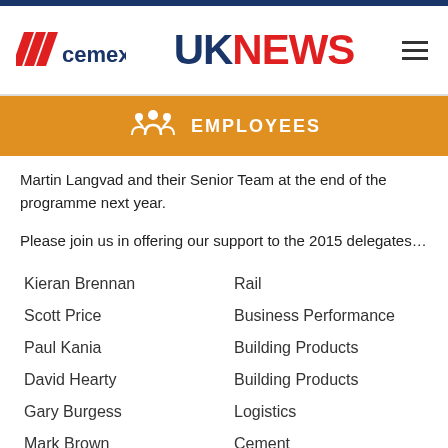CEMEX UK NEWS
EMPLOYEES
Martin Langvad and their Senior Team at the end of the programme next year.
Please join us in offering our support to the 2015 delegates…
Kieran Brennan    Rail
Scott Price    Business Performance
Paul Kania    Building Products
David Hearty    Building Products
Gary Burgess    Logistics
Mark Brown    Cement
Stuart Woods    Logistics
Edward Castleton    Cement Operations